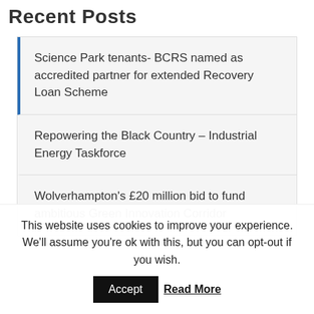Recent Posts
Science Park tenants- BCRS named as accredited partner for extended Recovery Loan Scheme
Repowering the Black Country – Industrial Energy Taskforce
Wolverhampton's £20 million bid to fund ambitious Green Innovation Corridor
This website uses cookies to improve your experience. We'll assume you're ok with this, but you can opt-out if you wish. Accept Read More